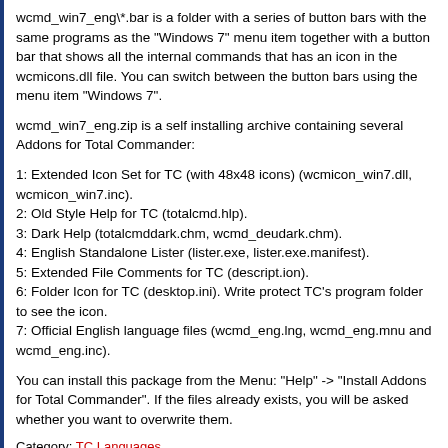wcmd_win7_eng\*.bar is a folder with a series of button bars with the same programs as the "Windows 7" menu item together with a button bar that shows all the internal commands that has an icon in the wcmicons.dll file. You can switch between the button bars using the menu item "Windows 7".
wcmd_win7_eng.zip is a self installing archive containing several Addons for Total Commander:
1: Extended Icon Set for TC (with 48x48 icons) (wcmicon_win7.dll, wcmicon_win7.inc).
2: Old Style Help for TC (totalcmd.hlp).
3: Dark Help (totalcmddark.chm, wcmd_deudark.chm).
4: English Standalone Lister (lister.exe, lister.exe.manifest).
5: Extended File Comments for TC (descript.ion).
6: Folder Icon for TC (desktop.ini). Write protect TC's program folder to see the icon.
7: Official English language files (wcmd_eng.lng, wcmd_eng.mnu and wcmd_eng.inc).
You can install this package from the Menu: "Help" -> "Install Addons for Total Commander". If the files already exists, you will be asked whether you want to overwrite them.
Category: TC Languages